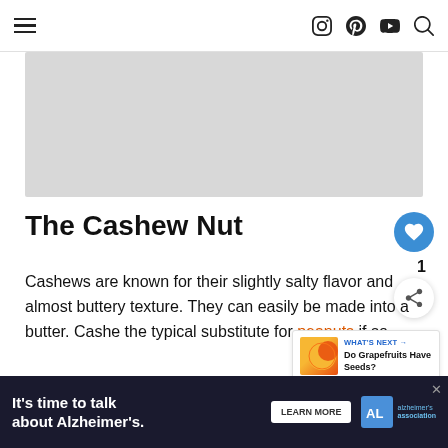Navigation header with hamburger menu and icons for Instagram, Pinterest, YouTube, Search
[Figure (other): Gray advertisement/image placeholder box below header]
The Cashew Nut
Cashews are known for their slightly salty flavor and almost buttery texture. They can easily be made into a butter. Cashe the typical substitute for peanuts if so
[Figure (infographic): What's Next promo box showing grapefruit image with text 'WHAT'S NEXT → Do Grapefruits Have Seeds?']
[Figure (other): Advertisement banner: It's time to talk about Alzheimer's. LEARN MORE. Alzheimer's Association logo.]